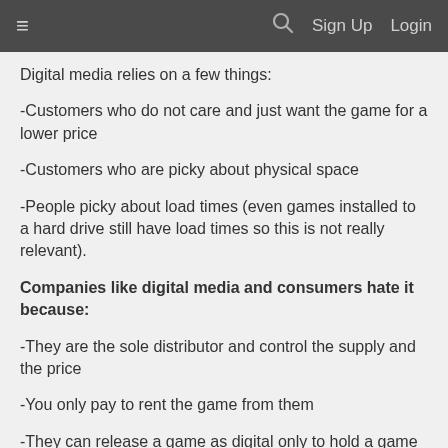≡  🔍  Sign Up  Login
Digital media relies on a few things:
-Customers who do not care and just want the game for a lower price
-Customers who are picky about physical space
-People picky about load times (even games installed to a hard drive still have load times so this is not really relevant).
Companies like digital media and consumers hate it because:
-They are the sole distributor and control the supply and the price
-You only pay to rent the game from them
-They can release a game as digital only to hold a game or series hostage and hope people will cave and